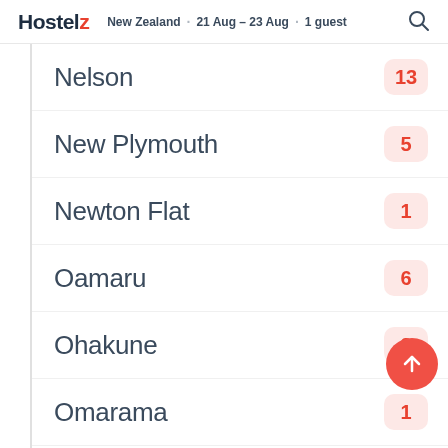Hostelz · New Zealand · 21 Aug - 23 Aug · 1 guest
Nelson · 13
New Plymouth · 5
Newton Flat · 1
Oamaru · 6
Ohakune · 3
Omarama · 1
Opetangi · 1